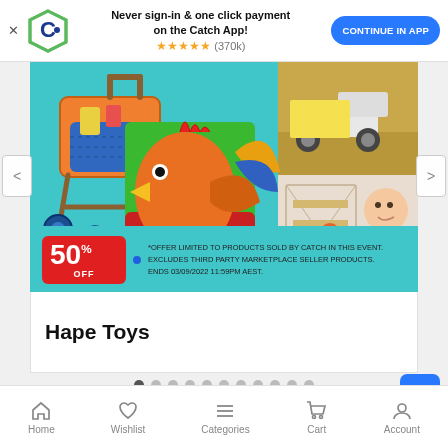[Figure (screenshot): App banner with Catch logo, text about never sign-in and one click payment on Catch App, star rating (370k), and CONTINUE IN APP button]
[Figure (photo): Promotional banner showing Hape Toys products including wooden shopping cart, rooster puzzle box, construction toy with child, and toy vehicle on sand. Red tag shows 50% OFF with disclaimer text. Carousel navigation arrows on left and right.]
Hape Toys
[Figure (infographic): Carousel dot indicators — 11 dots, first one active/dark]
Home  Wishlist  Categories  Cart  Account